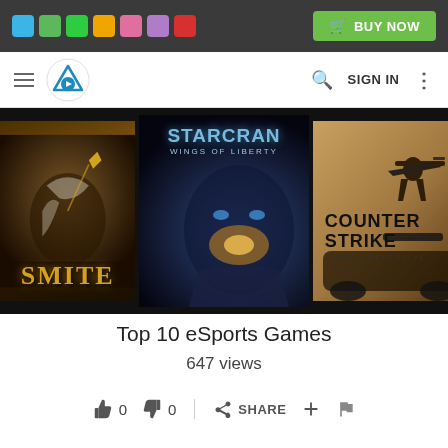[Figure (screenshot): Top advertisement bar with colored squares and BUY NOW button]
[Figure (screenshot): Navigation bar with hamburger menu, Plex-like logo, search icon, SIGN IN text, and vertical dots menu]
[Figure (screenshot): Video thumbnail showing game covers: SMITE, StarCraft II Wings of Liberty, and Counter Strike Global Offensive on dark background]
Top 10 eSports Games
647 views
0  0  SHARE  +  flag